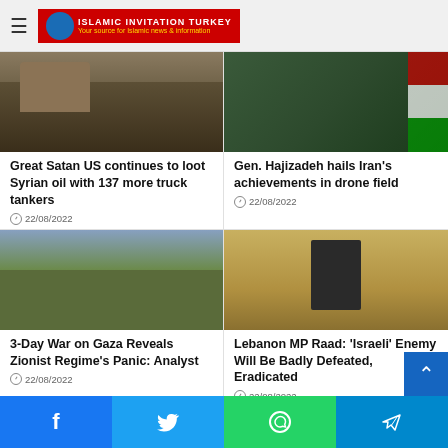Islamic Invitation Turkey
[Figure (photo): Military truck tankers]
Great Satan US continues to loot Syrian oil with 137 more truck tankers
22/08/2022
[Figure (photo): Gen. Hajizadeh at podium with microphones, Iranian flag visible]
Gen. Hajizadeh hails Iran's achievements in drone field
22/08/2022
[Figure (photo): Soldiers with child holding a gun against stone wall]
3-Day War on Gaza Reveals Zionist Regime's Panic: Analyst
22/08/2022
[Figure (photo): Lebanon MP Raad speaking at podium with microphones]
Lebanon MP Raad: 'Israeli' Enemy Will Be Badly Defeated, Eradicated
22/08/2022
Facebook | Twitter | WhatsApp | Telegram